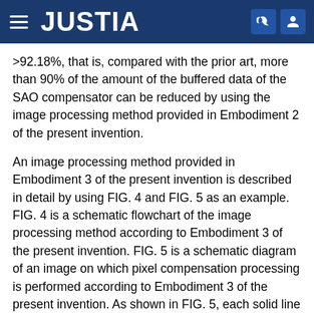JUSTIA
>92.18%, that is, compared with the prior art, more than 90% of the amount of the buffered data of the SAO compensator can be reduced by using the image processing method provided in Embodiment 2 of the present invention.
An image processing method provided in Embodiment 3 of the present invention is described in detail by using FIG. 4 and FIG. 5 as an example. FIG. 4 is a schematic flowchart of the image processing method according to Embodiment 3 of the present invention. FIG. 5 is a schematic diagram of an image on which pixel compensation processing is performed according to Embodiment 3 of the present invention. As shown in FIG. 5, each solid line square represents one LCU, and each LCU includes three areas. Grey parts indicate areas on which pixel compensation is performed, blank parts indicate areas on which pixel compensation is not